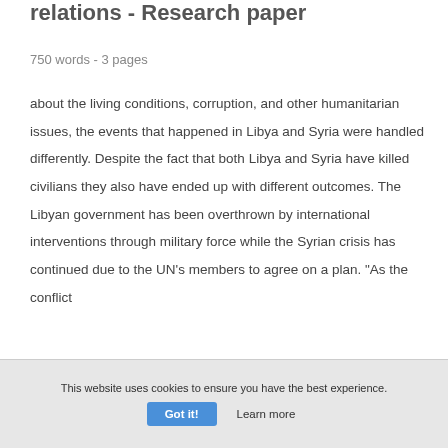relations - Research paper
750 words - 3 pages
about the living conditions, corruption, and other humanitarian issues, the events that happened in Libya and Syria were handled differently. Despite the fact that both Libya and Syria have killed civilians they also have ended up with different outcomes. The Libyan government has been overthrown by international interventions through military force while the Syrian crisis has continued due to the UN’s members to agree on a plan. “As the conflict
This website uses cookies to ensure you have the best experience.